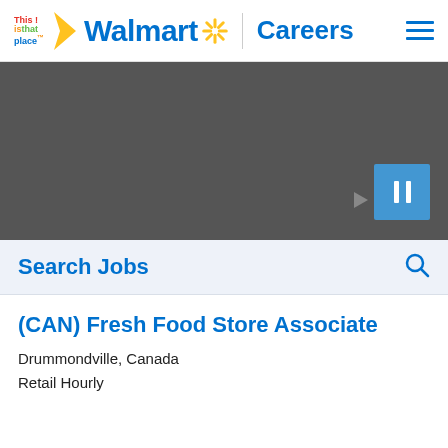[Figure (logo): Walmart Careers navigation bar with 'This is that place' logo, Walmart spark logo, 'Walmart' text, divider, 'Careers' text, and hamburger menu icon]
[Figure (screenshot): Dark gray video banner with a pause button (blue square with two white vertical bars) in the lower right, and a gray play arrow to its left]
Search Jobs
(CAN) Fresh Food Store Associate
Drummondville, Canada
Retail Hourly